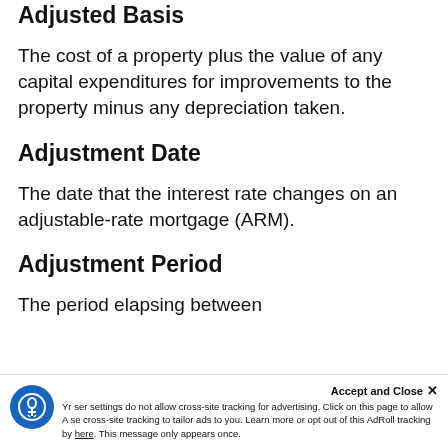Adjusted Basis
The cost of a property plus the value of any capital expenditures for improvements to the property minus any depreciation taken.
Adjustment Date
The date that the interest rate changes on an adjustable-rate mortgage (ARM).
Adjustment Period
The period elapsing between adjustment dates for an adjustable-rate mortgage (ARM).